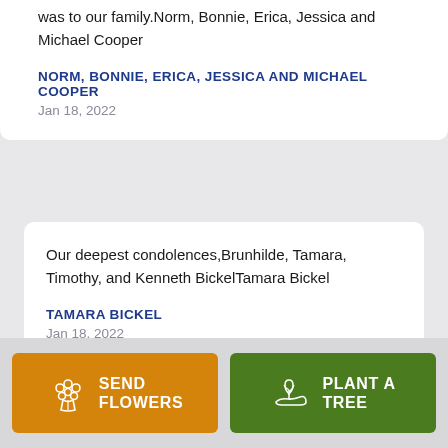was to our family.Norm, Bonnie, Erica, Jessica and Michael Cooper
NORM, BONNIE, ERICA, JESSICA AND MICHAEL COOPER
Jan 18, 2022
Our deepest condolences,Brunhilde, Tamara, Timothy, and Kenneth BickelTamara Bickel
TAMARA BICKEL
Jan 18, 2022
[Figure (other): Two buttons at the bottom: orange 'SEND FLOWERS' button with flower bouquet icon, and green 'PLANT A TREE' button with plant/hand icon]